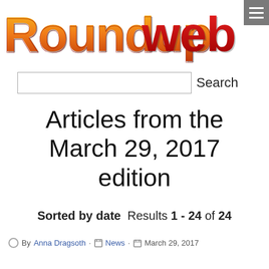Roundupweb.com
Articles from the March 29, 2017 edition
Sorted by date  Results 1 - 24 of 24
By Anna Dragseth · News · March 29, 2017